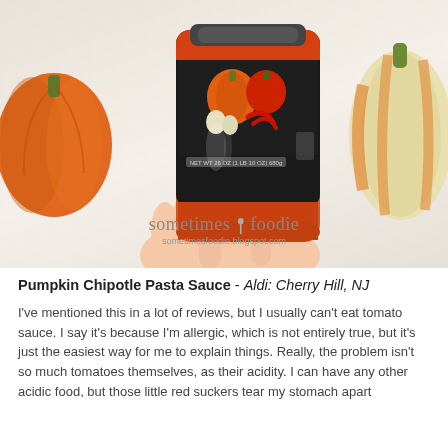[Figure (photo): A hand holding a jar of Pumpkin Chipotle Pasta Sauce with pumpkins in the background, watermarked 'sometimes foodie / sometimesfoodie.blogspot.com']
Pumpkin Chipotle Pasta Sauce - Aldi: Cherry Hill, NJ
I've mentioned this in a lot of reviews, but I usually can't eat tomato sauce. I say it's because I'm allergic, which is not entirely true, but it's just the easiest way for me to explain things. Really, the problem isn't so much tomatoes themselves, as their acidity. I can have any other acidic food, but those little red suckers tear my stomach apart